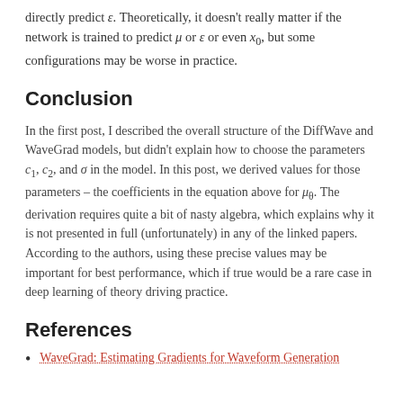directly predict ε. Theoretically, it doesn't really matter if the network is trained to predict μ or ε or even x₀, but some configurations may be worse in practice.
Conclusion
In the first post, I described the overall structure of the DiffWave and WaveGrad models, but didn't explain how to choose the parameters c₁, c₂, and σ in the model. In this post, we derived values for those parameters – the coefficients in the equation above for μ_θ. The derivation requires quite a bit of nasty algebra, which explains why it is not presented in full (unfortunately) in any of the linked papers. According to the authors, using these precise values may be important for best performance, which if true would be a rare case in deep learning of theory driving practice.
References
WaveGrad: Estimating Gradients for Waveform Generation